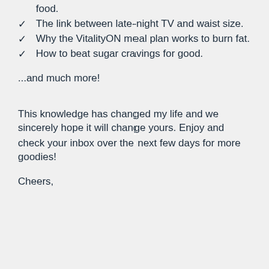food.
The link between late-night TV and waist size.
Why the VitalityON meal plan works to burn fat.
How to beat sugar cravings for good.
...and much more!
This knowledge has changed my life and we sincerely hope it will change yours. Enjoy and check your inbox over the next few days for more goodies!
Cheers,